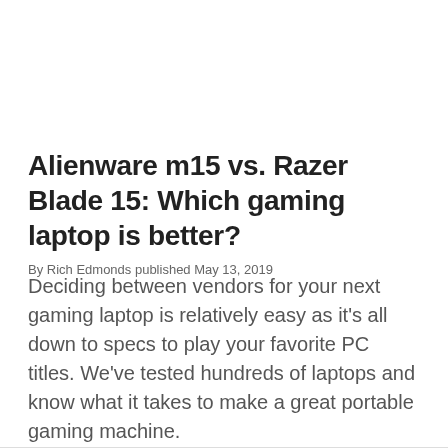Alienware m15 vs. Razer Blade 15: Which gaming laptop is better?
By Rich Edmonds published May 13, 2019
Deciding between vendors for your next gaming laptop is relatively easy as it's all down to specs to play your favorite PC titles. We've tested hundreds of laptops and know what it takes to make a great portable gaming machine.